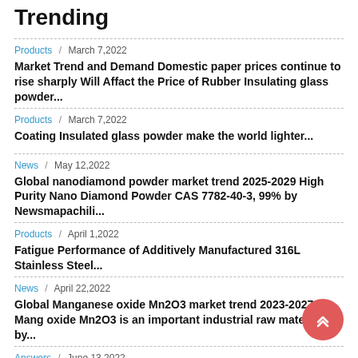Trending
Products / March 7,2022
Market Trend and Demand Domestic paper prices continue to rise sharply Will Affact the Price of Rubber Insulating glass powder...
Products / March 7,2022
Coating Insulated glass powder make the world lighter...
News / May 12,2022
Global nanodiamond powder market trend 2025-2029 High Purity Nano Diamond Powder CAS 7782-40-3, 99% by Newsmapachili...
Products / April 1,2022
Fatigue Performance of Additively Manufactured 316L Stainless Steel...
News / April 22,2022
Global Manganese oxide Mn2O3 market trend 2023-2027 Manganese oxide Mn2O3 is an important industrial raw material by...
Answers / June 13,2022